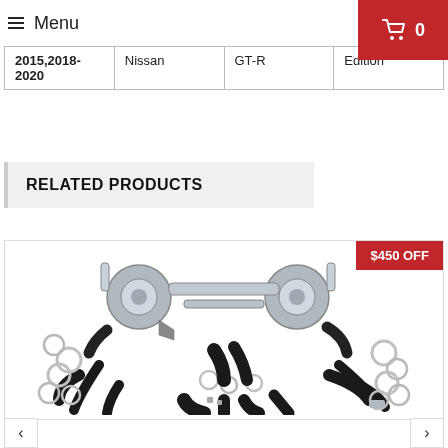Menu   0
|  |  |  |  |
| --- | --- | --- | --- |
| 2015,2018-
2020 | Nissan | GT-R | Edition |
RELATED PRODUCTS
[Figure (photo): Turbo kit parts spread out including turbos, hoses, clamps, pipes, and hardware for a Nissan GT-R. Red badge showing $450 OFF in top right corner of product card.]